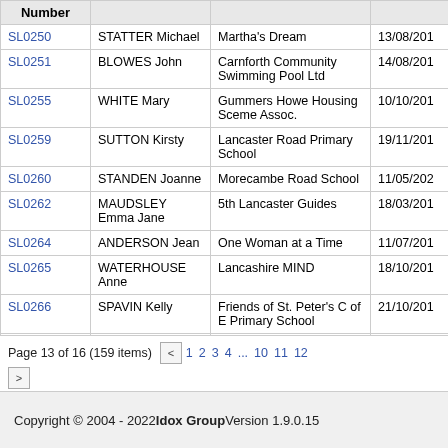| Number |  | p |  |
| --- | --- | --- | --- |
| SL0250 | STATTER Michael | Martha's Dream | 13/08/20... |
| SL0251 | BLOWES John | Carnforth Community Swimming Pool Ltd | 14/08/20... |
| SL0255 | WHITE Mary | Gummers Howe Housing Sceme Assoc. | 10/10/20... |
| SL0259 | SUTTON Kirsty | Lancaster Road Primary School | 19/11/20... |
| SL0260 | STANDEN Joanne | Morecambe Road School | 11/05/20... |
| SL0262 | MAUDSLEY Emma Jane | 5th Lancaster Guides | 18/03/20... |
| SL0264 | ANDERSON Jean | One Woman at a Time | 11/07/20... |
| SL0265 | WATERHOUSE Anne | Lancashire MIND | 18/10/20... |
| SL0266 | SPAVIN Kelly | Friends of St. Peter's C of E Primary School | 21/10/20... |
| SL0267 | KNOWLES Julie | PhilippinesEuro Asia | 29/11/20... |
Page 13 of 16 (159 items) < 1 2 3 4 ... 10 11 12 >
Copyright © 2004 - 2022 Idox Group Version 1.9.0.15